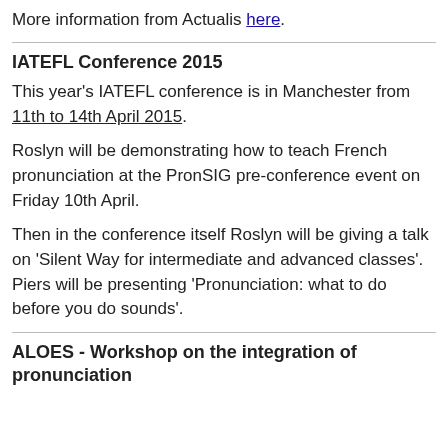More information from Actualis here.
IATEFL Conference 2015
This year's IATEFL conference is in Manchester from 11th to 14th April 2015.
Roslyn will be demonstrating how to teach French pronunciation at the PronSIG pre-conference event on Friday 10th April.
Then in the conference itself Roslyn will be giving a talk on 'Silent Way for intermediate and advanced classes'. Piers will be presenting 'Pronunciation: what to do before you do sounds'.
ALOES - Workshop on the integration of pronunciation